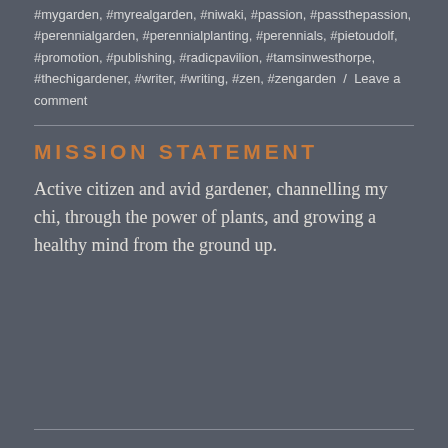#mygarden, #myrealgarden, #niwaki, #passion, #passthepassion, #perennialgarden, #perennialplanting, #perennials, #pietoudolf, #promotion, #publishing, #radicpavilion, #tamsinwesthorpe, #thechigardener, #writer, #writing, #zen, #zengarden / Leave a comment
MISSION STATEMENT
Active citizen and avid gardener, channelling my chi, through the power of plants, and growing a healthy mind from the ground up.